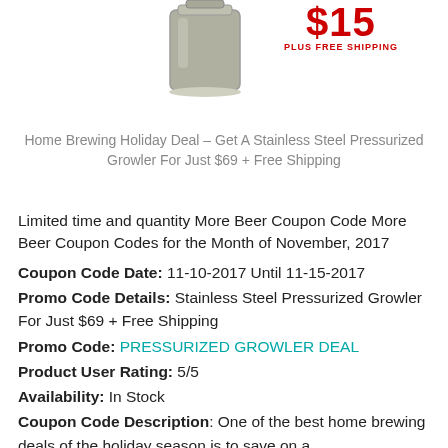[Figure (photo): Stainless steel pressurized growler product image, cylindrical metallic container]
Home Brewing Holiday Deal – Get A Stainless Steel Pressurized Growler For Just $69 + Free Shipping
Limited time and quantity More Beer Coupon Code More Beer Coupon Codes for the Month of November, 2017
Coupon Code Date: 11-10-2017 Until 11-15-2017
Promo Code Details: Stainless Steel Pressurized Growler For Just $69 + Free Shipping
Promo Code: PRESSURIZED GROWLER DEAL
Product User Rating: 5/5
Availability: In Stock
Coupon Code Description: One of the best home brewing deals of the holiday season is to save on a